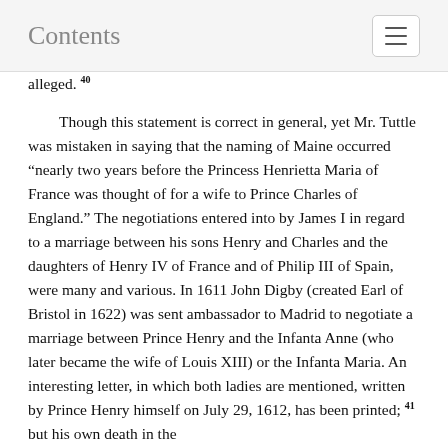Contents
alleged. 40
Though this statement is correct in general, yet Mr. Tuttle was mistaken in saying that the naming of Maine occurred “nearly two years before the Princess Henrietta Maria of France was thought of for a wife to Prince Charles of England.” The negotiations entered into by James I in regard to a marriage between his sons Henry and Charles and the daughters of Henry IV of France and of Philip III of Spain, were many and various. In 1611 John Digby (created Earl of Bristol in 1622) was sent ambassador to Madrid to negotiate a marriage between Prince Henry and the Infanta Anne (who later became the wife of Louis XIII) or the Infanta Maria. An interesting letter, in which both ladies are mentioned, written by Prince Henry himself on July 29, 1612, has been printed; 41 but his own death in the